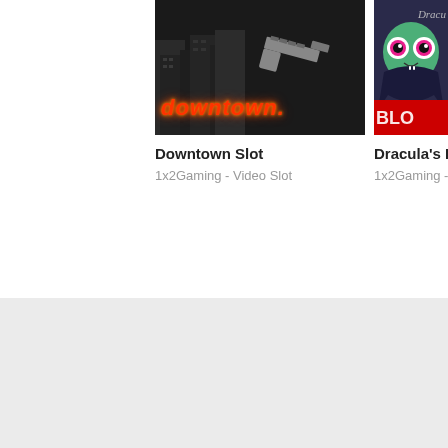[Figure (screenshot): Downtown Slot game thumbnail — dark urban background with a gun graphic and glowing red neon 'downtown.' text at bottom]
Downtown Slot
1x2Gaming - Video Slot
[Figure (screenshot): Dracula's B... game thumbnail — cartoon Dracula character with large eyes, partially visible red logo text at bottom]
Dracula's B
1x2Gaming -